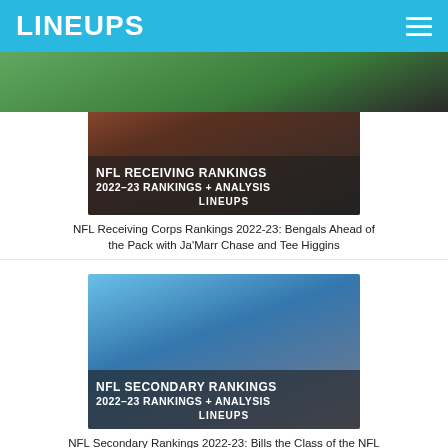LINEUPS
[Figure (photo): NFL player in Bengals uniform, with overlay text: NFL RECEIVING RANKINGS / 2022-23 RANKINGS + ANALYSIS / LINEUPS]
NFL Receiving Corps Rankings 2022-23: Bengals Ahead of the Pack with Ja'Marr Chase and Tee Higgins
[Figure (photo): NFL player in Bills uniform, with overlay text: NFL SECONDARY RANKINGS / 2022-23 RANKINGS + ANALYSIS / LINEUPS]
NFL Secondary Rankings 2022-23: Bills the Class of the NFL
[Figure (photo): Partial image of NFL player at bottom of page]